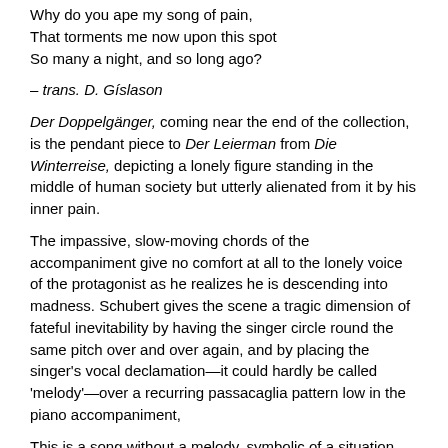Why do you ape my song of pain,
That torments me now upon this spot
So many a night, and so long ago?
– trans. D. Gíslason
Der Doppelgänger, coming near the end of the collection, is the pendant piece to Der Leierman from Die Winterreise, depicting a lonely figure standing in the middle of human society but utterly alienated from it by his inner pain.
The impassive, slow-moving chords of the accompaniment give no comfort at all to the lonely voice of the protagonist as he realizes he is descending into madness. Schubert gives the scene a tragic dimension of fateful inevitability by having the singer circle round the same pitch over and over again, and by placing the singer's vocal declamation—it could hardly be called 'melody'—over a recurring passacaglia pattern low in the piano accompaniment,
This is a song without a melody, symbolic of a situation without